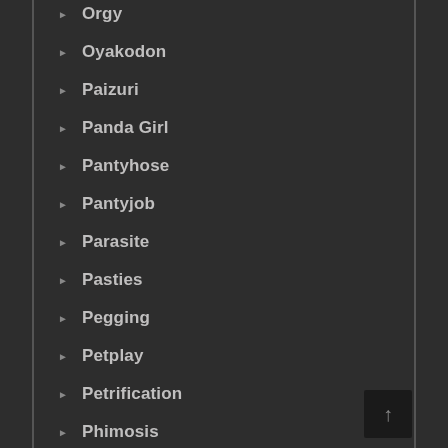Orgy
Oyakodon
Paizuri
Panda Girl
Pantyhose
Pantyjob
Parasite
Pasties
Pegging
Petplay
Petrification
Phimosis
Phone Sex